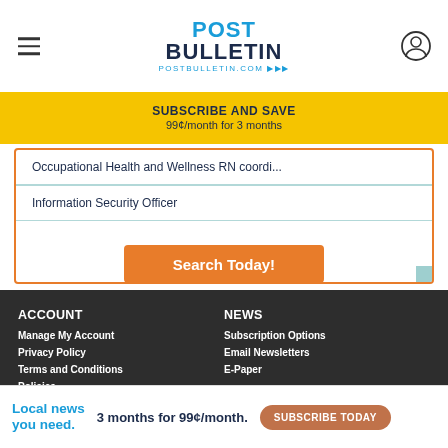POST BULLETIN | postbulletin.com
SUBSCRIBE AND SAVE
99¢/month for 3 months
Occupational Health and Wellness RN coordi...
Information Security Officer
Search Today!
ACCOUNT
Manage My Account
Privacy Policy
Terms and Conditions
Policies...
NEWS
Subscription Options
Email Newsletters
E-Paper
CONT...
...RE
Local news you need.  3 months for 99¢/month.  SUBSCRIBE TODAY